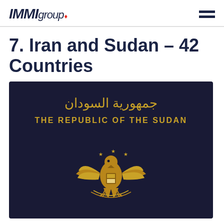IMMIgroup
7. Iran and Sudan – 42 Countries
[Figure (photo): Sudanese passport cover with Arabic text 'جمهورية السودان' and English text 'THE REPUBLIC OF THE SUDAN' with golden eagle emblem on dark navy blue background]